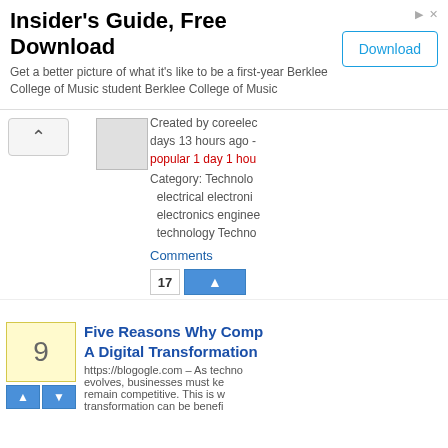[Figure (screenshot): Advertisement banner: Insider's Guide, Free Download with Download button]
Created by coreelec days 13 hours ago - popular 1 day 1 hou
Category: Technology electrical electronics electronics enginee technology Techno
Comments
17
Five Reasons Why Comp A Digital Transformation
https://blogogle.com – As techno evolves, businesses must ke remain competitive. This is w transformation can be benefi
9